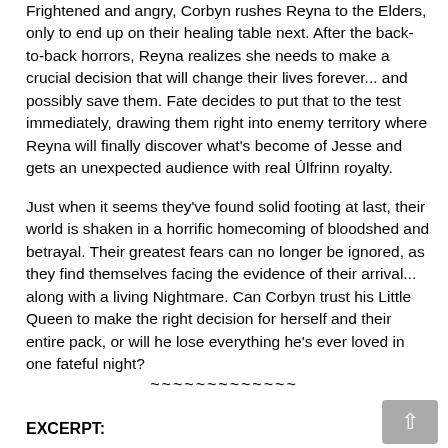Frightened and angry, Corbyn rushes Reyna to the Elders, only to end up on their healing table next. After the back-to-back horrors, Reyna realizes she needs to make a crucial decision that will change their lives forever... and possibly save them. Fate decides to put that to the test immediately, drawing them right into enemy territory where Reyna will finally discover what's become of Jesse and gets an unexpected audience with real Úlfrinn royalty.
Just when it seems they've found solid footing at last, their world is shaken in a horrific homecoming of bloodshed and betrayal. Their greatest fears can no longer be ignored, as they find themselves facing the evidence of their arrival... along with a living Nightmare. Can Corbyn trust his Little Queen to make the right decision for herself and their entire pack, or will he lose everything he's ever loved in one fateful night?
~~~~~~~~~~~~~
EXCERPT: